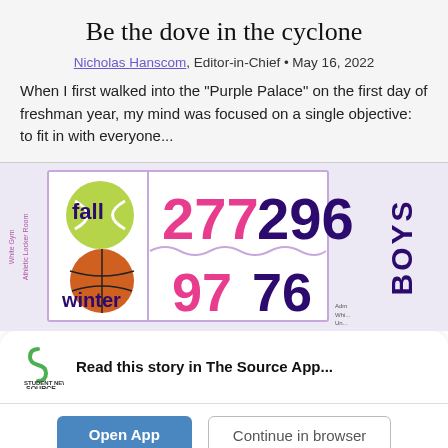Be the dove in the cyclone
Nicholas Hanscom, Editor-in-Chief • May 16, 2022
When I first walked into the "Purple Palace" on the first day of freshman year, my mind was focused on a single objective: to fit in with everyone...
[Figure (infographic): Athletic locker room / White Gym sports stats infographic showing fall/winter seasons with numbers 277, 296, 97, 76 in pink and purple, with sports balls (tennis, basketball) and BOYS label]
Read this story in The Source App...
Open App
Continue in browser